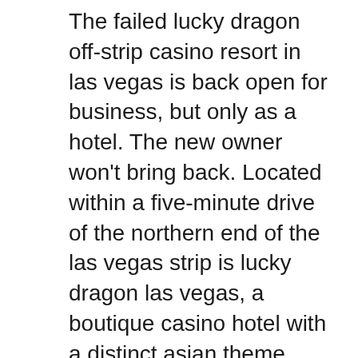The failed lucky dragon off-strip casino resort in las vegas is back open for business, but only as a hotel. The new owner won't bring back. Located within a five-minute drive of the northern end of the las vegas strip is lucky dragon las vegas, a boutique casino hotel with a distinct asian theme. Ahern hotel and conference center (formerly lucky dragon) is a closed hotel and former casino in las vegas, nevada. The resort is located on 2. Lucky dragon hotel &amp; casino las vegas. Las vegas nevada u. Check-in starts at: 15:00. Im chinesischen stil und mit 300 spielautomaten präsentiert sich in las vegas das neue hotel lucky dragon, welches gerade einmal gute. Chinese-themed las vegas hotel-casino, lucky dragon, sold on monday for $36 million after months of searching for a buyer, las vegas. Lucky dragon hotel &amp; casino - nevada entdecken ✓ einfach &amp; sicher online buchen ✓ flexible zahlungsarten ✓ top...